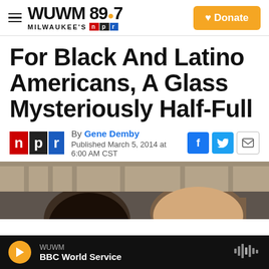WUWM 89.7 Milwaukee's NPR — Donate
For Black And Latino Americans, A Glass Mysteriously Half-Full
By Gene Demby
Published March 5, 2014 at 6:00 AM CST
[Figure (photo): Photograph of two people, partial heads visible, outdoor setting]
WUWM — BBC World Service (player bar)